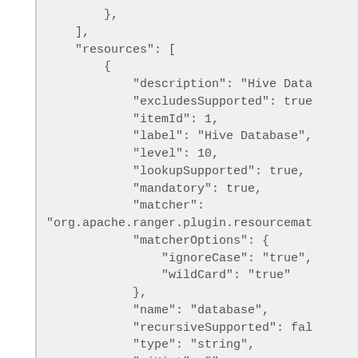},
    ],
    "resources": [
        {
            "description": "Hive Data
            "excludesSupported": true
            "itemId": 1,
            "label": "Hive Database",
            "level": 10,
            "lookupSupported": true,
            "mandatory": true,
            "matcher":
"org.apache.ranger.plugin.resourcemat
            "matcherOptions": {
                "ignoreCase": "true",
                "wildCard": "true"
            },
            "name": "database",
            "recursiveSupported": fal
            "type": "string",
            "uiHint": ""